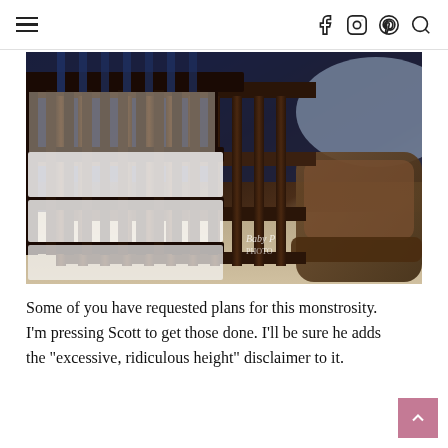Navigation header with hamburger menu and social icons (Facebook, Instagram, Pinterest, Search)
[Figure (photo): Close-up photo of a dark espresso-stained wooden baby crib with vertical slats and white mesh bumper pads, with a brown upholstered chair visible in the background. Watermark reads 'Baby [P]ho[to]' in the lower right.]
Some of you have requested plans for this monstrosity. I’m pressing Scott to get those done. I’ll be sure he adds the “excessive, ridiculous height” disclaimer to it.